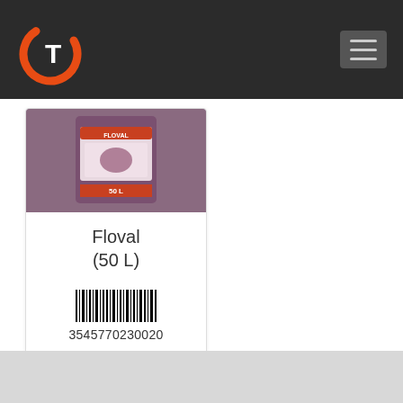[Figure (logo): GT logo with orange circle and T letter on dark navbar]
[Figure (photo): Product bag photo - Floval 50L substrate bag]
Floval (50 L)
[Figure (other): Barcode image]
3545770230020
PRODUCT SHEET
🔒 For members only... Click here to log-in